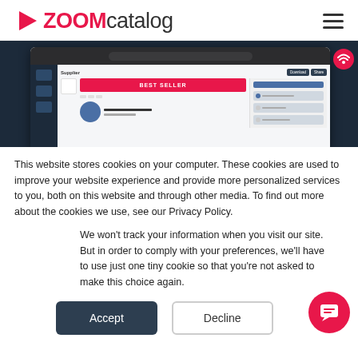[Figure (logo): ZoomCatalog logo with pink arrow icon and pink/grey text]
[Figure (screenshot): Screenshot of ZoomCatalog supplier catalog interface showing best seller banner]
This website stores cookies on your computer. These cookies are used to improve your website experience and provide more personalized services to you, both on this website and through other media. To find out more about the cookies we use, see our Privacy Policy.
We won't track your information when you visit our site. But in order to comply with your preferences, we'll have to use just one tiny cookie so that you're not asked to make this choice again.